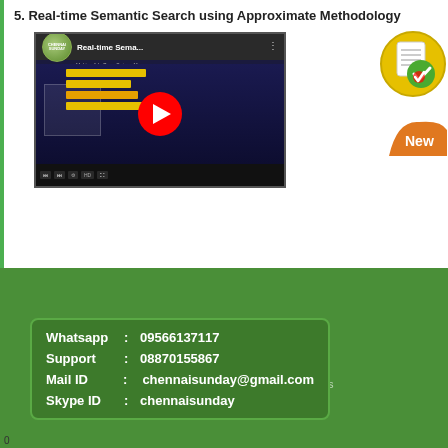5. Real-time Semantic Search using Approximate Methodology
[Figure (screenshot): YouTube video thumbnail showing 'Real-time Sema...' video with play button, ChennaiSunday logo, dark blue interface with yellow highlighted text blocks]
[Figure (illustration): Green circle with checklist icon and red checkmark]
[Figure (illustration): Orange 'New' badge]
Whatsapp :  09566137117
Support   :  08870155867
Mail ID   :   chennaisunday@gmail.com
Skype ID  :  chennaisunday
0